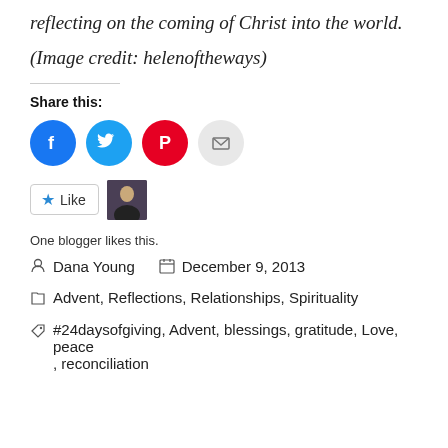reflecting on the coming of Christ into the world.
(Image credit: helenoftheways)
Share this:
[Figure (other): Social share buttons: Facebook (blue circle), Twitter (cyan circle), Pinterest (red circle), Email (grey circle)]
[Figure (other): Like button and blogger avatar thumbnail]
One blogger likes this.
Dana Young   December 9, 2013
Advent, Reflections, Relationships, Spirituality
#24daysofgiving, Advent, blessings, gratitude, Love, peace , reconciliation